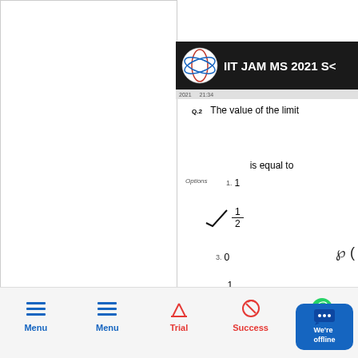[Figure (screenshot): IIT JAM MS 2021 S video header with logo showing orbital diagram in red and blue]
Q.2  The value of the limit
is equal to
Options  1. 1
2. 1/2 (checked option)
3. 0
4. 1/4
Menu  Menu  Trial  Success  Whatsapp  We're offline